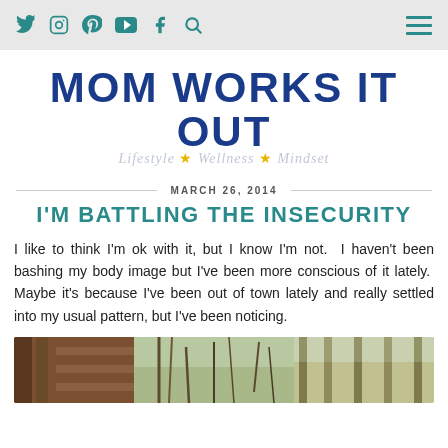Social icons: Twitter, Instagram, Pinterest, YouTube, Facebook, Search | Hamburger menu
[Figure (logo): Mom Works It Out blog logo — bold blue uppercase text 'MOM WORKS IT OUT' with italic subtitle 'Lifestyle ★ Wellness ★ Mindset' in light gray/blue with gold stars]
MARCH 26, 2014
I'M BATTLING THE INSECURITY
I like to think I'm ok with it, but I know I'm not.  I haven't been bashing my body image but I've been more conscious of it lately.  Maybe it's because I've been out of town lately and really settled into my usual pattern, but I've been noticing.
[Figure (photo): Outdoor photo strip showing wooden fence/deck structure and bare winter trees]